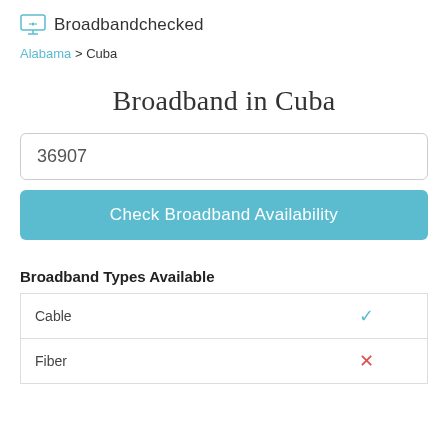Broadbandchecked
Alabama > Cuba
Broadband in Cuba
36907
Check Broadband Availability
Broadband Types Available
| Type | Available |
| --- | --- |
| Cable | ✓ |
| Fiber | ✗ |